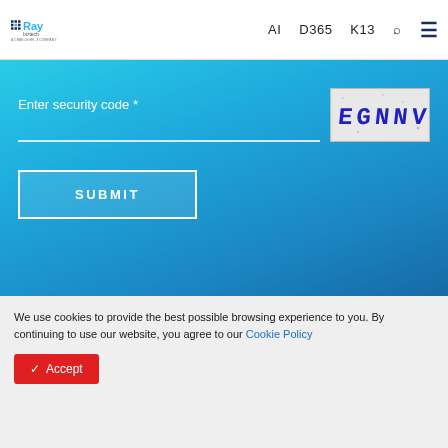Ray Biztech — A CMMI Level 3 Company | AI | D365 | K13
Enter security code *
[Figure (other): CAPTCHA image showing text EGNNV in blue distorted letters on grey background]
SUBMIT
ABOUT US
PRIVACY POLICY
SOLUTIONS
TERMS OF USE
RESOURCES
CAREERS
We use cookies to provide the best possible browsing experience to you. By continuing to use our website, you agree to our Cookie Policy
✓ Accept